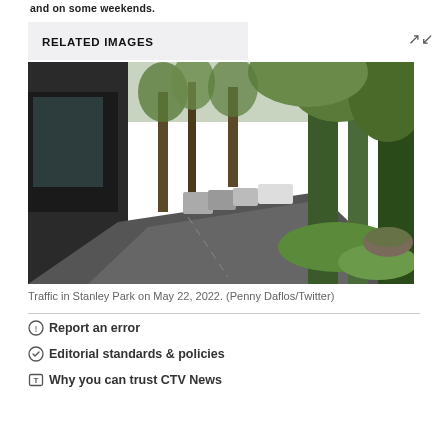and on some weekends.
RELATED IMAGES
[Figure (photo): Traffic in Stanley Park on May 22, 2022. Cars lined up on a narrow road surrounded by tall green trees and forest.]
Traffic in Stanley Park on May 22, 2022. (Penny Daflos/Twitter)
Report an error
Editorial standards & policies
Why you can trust CTV News